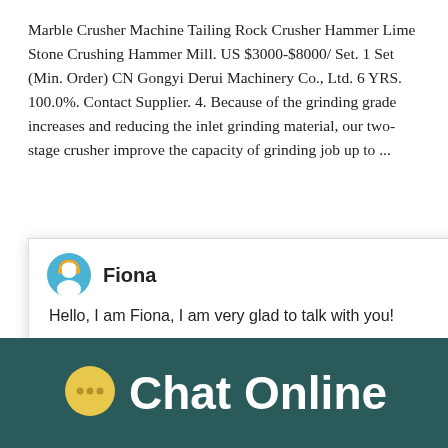Marble Crusher Machine Tailing Rock Crusher Hammer Lime Stone Crushing Hammer Mill. US $3000-$8000/ Set. 1 Set (Min. Order) CN Gongyi Derui Machinery Co., Ltd. 6 YRS. 100.0%. Contact Supplier. 4. Because of the grinding grade increases and reducing the inlet grinding material, our two-stage crusher improve the capacity of grinding job up to ...
[Figure (screenshot): Chat popup widget with avatar of Fiona, name 'Fiona', greeting message 'Hello, I am Fiona, I am very glad to talk with you!', close button X, right panel showing machinery photo with blue notification badge showing '1', and blue 'Click me to chat>>' button]
Finished product fineness:0-10mm，10-20mm
[Figure (photo): Industrial machinery photo strip showing large wheels/drums of crushing equipment]
[Figure (infographic): Bottom dark teal bar with yellow speech bubble icon and white 'Chat Online' text]